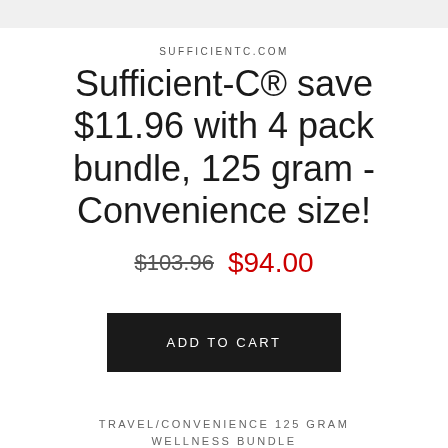SUFFICIENTC.COM
Sufficient-C® save $11.96 with 4 pack bundle, 125 gram - Convenience size!
$103.96  $94.00
ADD TO CART
TRAVEL/CONVENIENCE 125 GRAM WELLNESS BUNDLE